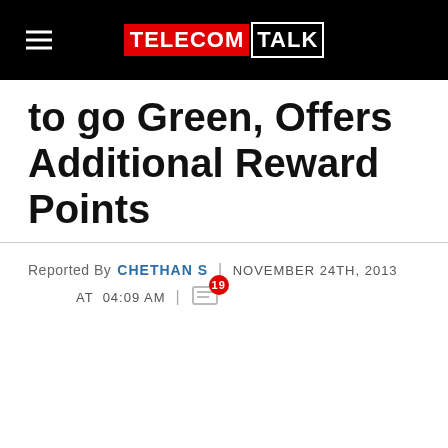TELECOMTALK
to go Green, Offers Additional Reward Points
Reported By CHETHAN S | NOVEMBER 24TH, 2013 AT 04:09 AM | 19 comments